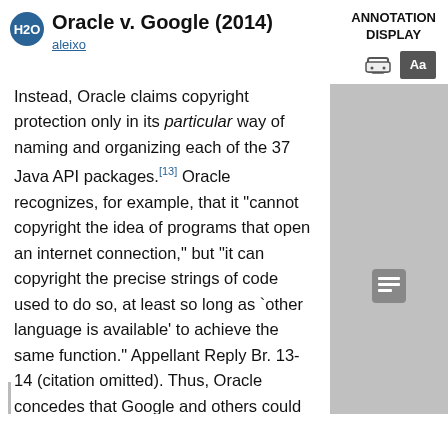Oracle v. Google (2014)
aleixo
ANNOTATION DISPLAY
Instead, Oracle claims copyright protection only in its particular way of naming and organizing each of the 37 Java API packages.[13] Oracle recognizes, for example, that it "cannot copyright the idea of programs that open an internet connection," but "it can copyright the precise strings of code used to do so, at least so long as `other language is available' to achieve the same function." Appellant Reply Br. 13-14 (citation omitted). Thus, Oracle concedes that Google and others could employ the Java language—much like anyone could employ the